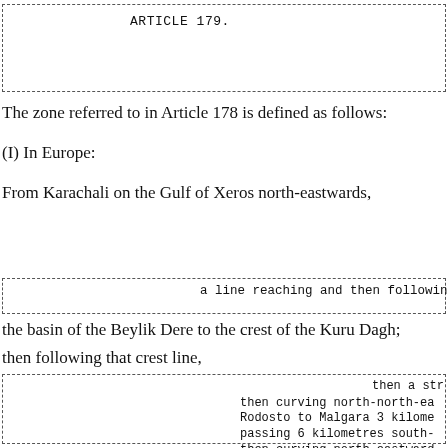ARTICLE 179.
The zone referred to in Article 178 is defined as follows:
(I) In Europe:
From Karachali on the Gulf of Xeros north-eastwards,
a line reaching and then following the southern bounda
the basin of the Beylik Dere to the crest of the Kuru Dagh;
then following that crest line,
then a str
then curving north-north-ea
Rodosto to Malgara 3 kilome
passing 6 kilometres south-

then curving north-eastward